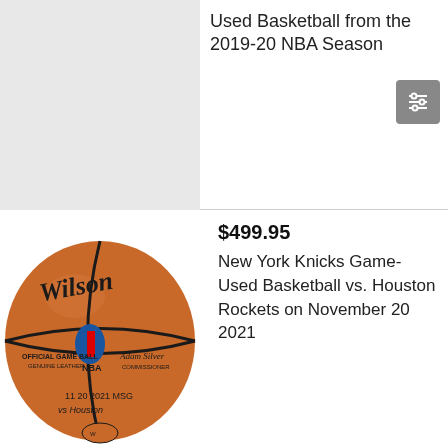[Figure (photo): Partial view of a basketball, light grey background, cropped]
Used Basketball from the 2019-20 NBA Season
[Figure (photo): Wilson NBA official game ball basketball showing logo, commissioner signature, date 11 20 2021 MSG, vs Houston inscription]
$499.95
New York Knicks Game-Used Basketball vs. Houston Rockets on November 20 2021